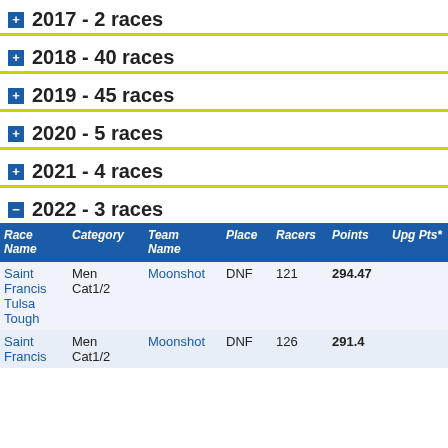2017 - 2 races
2018 - 40 races
2019 - 45 races
2020 - 5 races
2021 - 4 races
2022 - 3 races
| Race Name | Category | Team Name | Place | Racers | Points | Upg Pts* |
| --- | --- | --- | --- | --- | --- | --- |
| Saint Francis Tulsa Tough | Men Cat1/2 | Moonshot | DNF | 121 | 294.47 |  |
| Saint Francis | Men Cat1/2 | Moonshot | DNF | 126 | 291.4 |  |